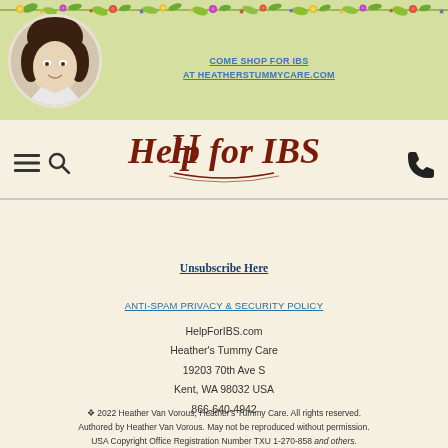[Figure (illustration): Decorative floral strip with colorful flowers and leaves across the top of the page header]
[Figure (photo): Circular portrait photo of a woman with dark curly hair]
COME SHOP FOR IBS
AT HEATHERSTUMMYCARE.COM
[Figure (logo): Help for IBS decorative script logo in dark red/maroon color]
[Figure (illustration): Hamburger menu icon and search icon on left side of header]
[Figure (illustration): Phone icon on right side of header]
Unsubscribe Here
ANTI-SPAM PRIVACY & SECURITY POLICY
HelpForIBS.com
Heather's Tummy Care
19203 70th Ave S
Kent, WA 98032 USA
866-640-4942
❖ 2022 Heather Van Vorous, Heather's Tummy Care. All rights reserved.
Authored by Heather Van Vorous. May not be reproduced without permission.
USA Copyright Office Registration Number TXU 1-270-858 and others.